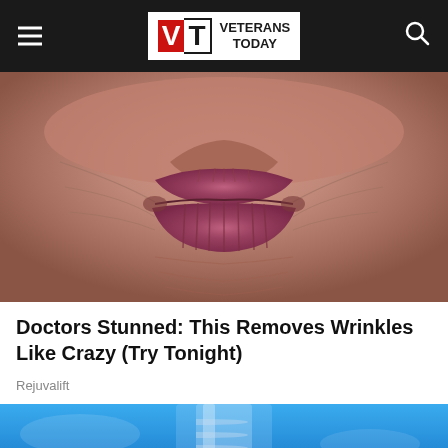VT VETERANS TODAY
[Figure (photo): Close-up photo of elderly person's heavily wrinkled lips and surrounding skin area]
Doctors Stunned: This Removes Wrinkles Like Crazy (Try Tonight)
Rejuvalift
[Figure (photo): Photo of a clear glass bottle against a blue background, partially visible]